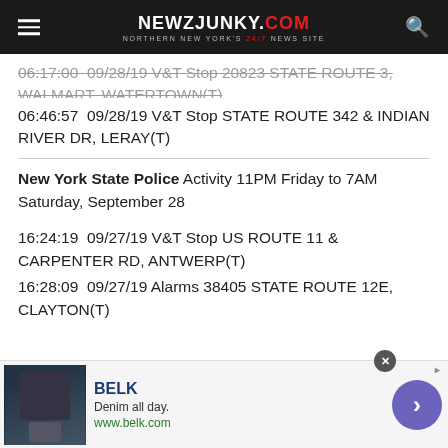NEWZJUNKY.COM — Northern New York's 24/7 News Site
06:17:00  09/28/19 V&T Stop 20823 STATE ROUTE 3, WALMART, WATERTOWN(T)
06:46:57  09/28/19 V&T Stop STATE ROUTE 342 & INDIAN RIVER DR, LERAY(T)
New York State Police Activity 11PM Friday to 7AM Saturday, September 28
16:24:19  09/27/19 V&T Stop US ROUTE 11 & CARPENTER RD, ANTWERP(T)
16:28:09  09/27/19 Alarms 38405 STATE ROUTE 12E, CLAYTON(T)
[Figure (other): BELK advertisement banner with Denim all day slogan and www.belk.com URL]